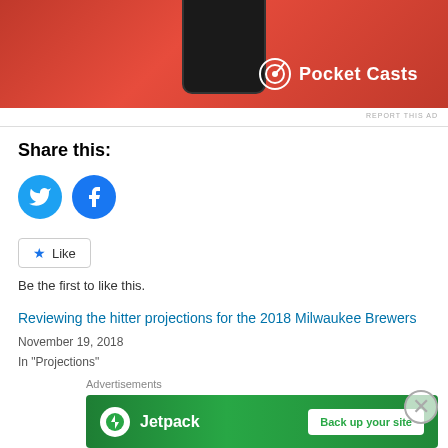[Figure (photo): Pocket Casts app advertisement banner showing a red smartphone with the Pocket Casts logo and name on a red gradient background]
REPORT THIS AD
Share this:
[Figure (infographic): Social sharing buttons: Twitter (blue bird icon circle) and Facebook (blue f icon circle)]
Like
Be the first to like this.
Reviewing the hitter projections for the 2018 Milwaukee Brewers
November 19, 2018
In "Projections"
Advertisements
[Figure (photo): Jetpack advertisement banner on green background with Jetpack logo and 'Back up your site' button]